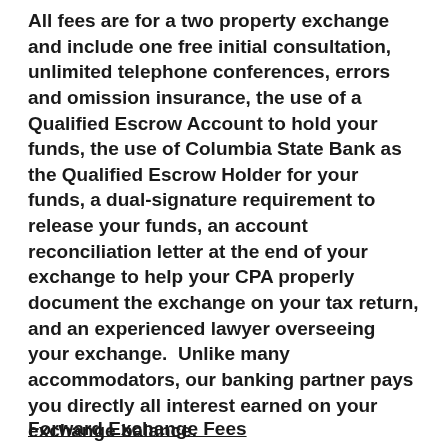All fees are for a two property exchange and include one free initial consultation, unlimited telephone conferences, errors and omission insurance, the use of a Qualified Escrow Account to hold your funds, the use of Columbia State Bank as the Qualified Escrow Holder for your funds, a dual-signature requirement to release your funds, an account reconciliation letter at the end of your exchange to help your CPA properly document the exchange on your tax return, and an experienced lawyer overseeing your exchange.  Unlike many accommodators, our banking partner pays you directly all interest earned on your exchange balance.
Forward Exchange Fees